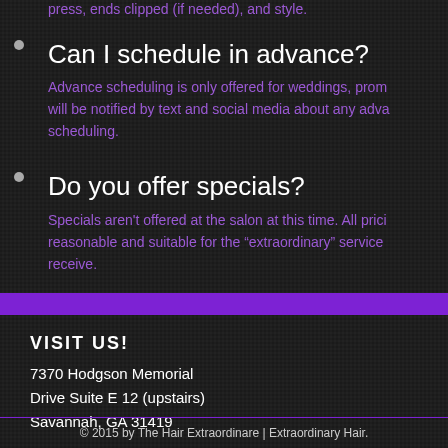press, ends clipped (if needed), and style.
Can I schedule in advance?
Advance scheduling is only offered for weddings, prom will be notified by text and social media about any advance scheduling.
Do you offer specials?
Specials aren't offered at the salon at this time. All pricing reasonable and suitable for the “extraordinary” service receive.
VISIT US!
7370 Hodgson Memorial Drive Suite E 12 (upstairs) Savannah, GA 31419
© 2015 by The Hair Extraordinare | Extraordinary Hair.